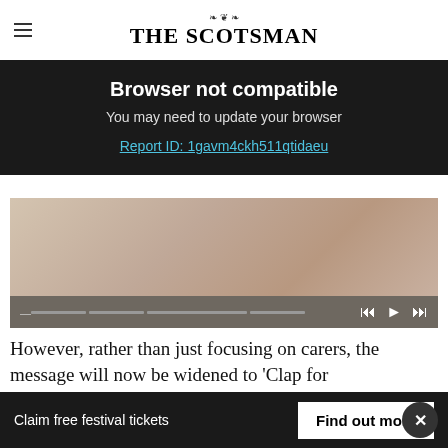THE SCOTSMAN
Browser not compatible
You may need to update your browser
Report ID: 1gavm4ckh511qtidaeu
[Figure (photo): Video player showing hands/carers image with media controls and progress bar at the bottom]
However, rather than just focusing on carers, the message will now be widened to 'Clap for
Claim free festival tickets    Find out more